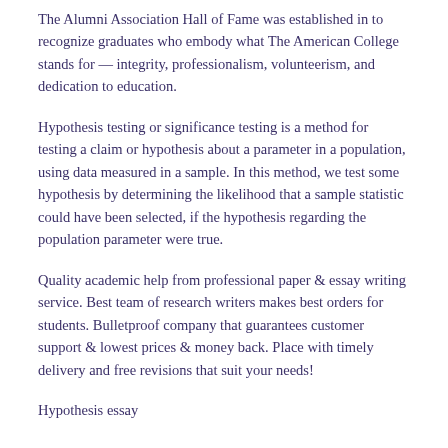The Alumni Association Hall of Fame was established in to recognize graduates who embody what The American College stands for — integrity, professionalism, volunteerism, and dedication to education.
Hypothesis testing or significance testing is a method for testing a claim or hypothesis about a parameter in a population, using data measured in a sample. In this method, we test some hypothesis by determining the likelihood that a sample statistic could have been selected, if the hypothesis regarding the population parameter were true.
Quality academic help from professional paper & essay writing service. Best team of research writers makes best orders for students. Bulletproof company that guarantees customer support & lowest prices & money back. Place with timely delivery and free revisions that suit your needs!
Hypothesis essay